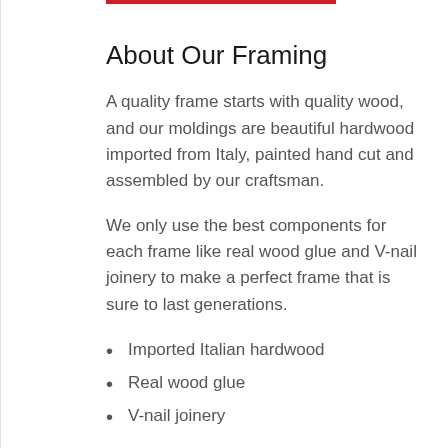About Our Framing
A quality frame starts with quality wood, and our moldings are beautiful hardwood imported from Italy, painted hand cut and assembled by our craftsman.
We only use the best components for each frame like real wood glue and V-nail joinery to make a perfect frame that is sure to last generations.
Imported Italian hardwood
Real wood glue
V-nail joinery